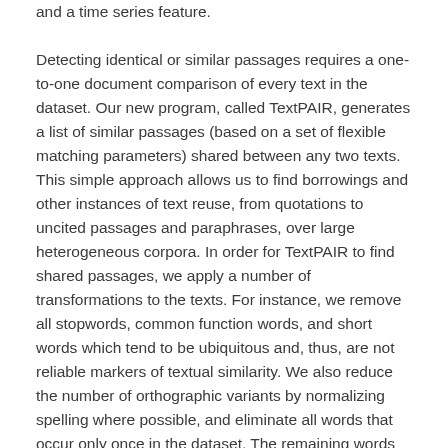and a time series feature. Detecting identical or similar passages requires a one-to-one document comparison of every text in the dataset. Our new program, called TextPAIR, generates a list of similar passages (based on a set of flexible matching parameters) shared between any two texts. This simple approach allows us to find borrowings and other instances of text reuse, from quotations to uncited passages and paraphrases, over large heterogeneous corpora. In order for TextPAIR to find shared passages, we apply a number of transformations to the texts. For instance, we remove all stopwords, common function words, and short words which tend to be ubiquitous and, thus, are not reliable markers of textual similarity. We also reduce the number of orthographic variants by normalizing spelling where possible, and eliminate all words that occur only once in the dataset. The remaining words are then grouped into units of n